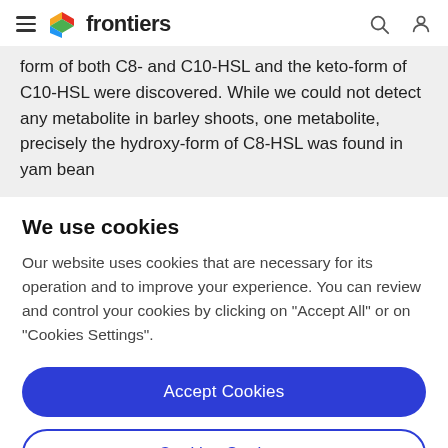frontiers
form of both C8- and C10-HSL and the keto-form of C10-HSL were discovered. While we could not detect any metabolite in barley shoots, one metabolite, precisely the hydroxy-form of C8-HSL was found in yam bean
We use cookies
Our website uses cookies that are necessary for its operation and to improve your experience. You can review and control your cookies by clicking on "Accept All" or on "Cookies Settings".
Accept Cookies
Cookies Settings